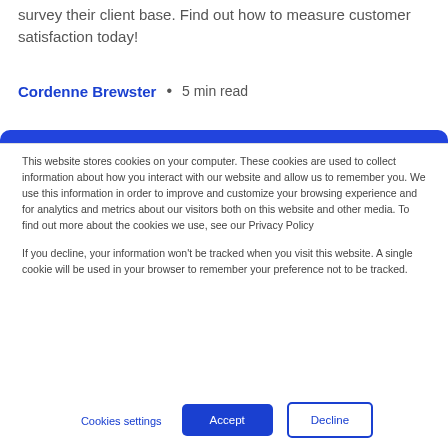survey their client base. Find out how to measure customer satisfaction today!
Cordenne Brewster • 5 min read
[Figure (other): Blue rounded banner bar at top of cookie consent dialog]
This website stores cookies on your computer. These cookies are used to collect information about how you interact with our website and allow us to remember you. We use this information in order to improve and customize your browsing experience and for analytics and metrics about our visitors both on this website and other media. To find out more about the cookies we use, see our Privacy Policy
If you decline, your information won't be tracked when you visit this website. A single cookie will be used in your browser to remember your preference not to be tracked.
Cookies settings   Accept   Decline